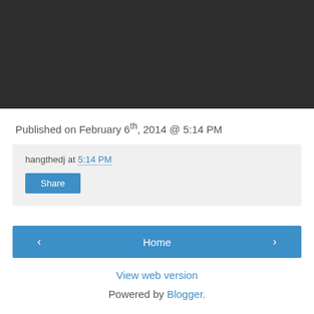[Figure (photo): Dark/black image block at the top of the page]
Published on February 6th, 2014 @ 5:14 PM
hangthedj at 5:14 PM
Share
Home
View web version
Powered by Blogger.